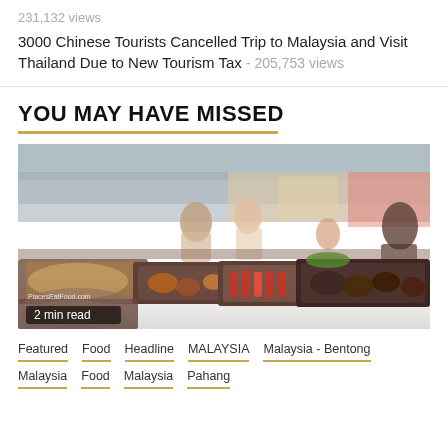231,132 views
3000 Chinese Tourists Cancelled Trip to Malaysia and Visit Thailand Due to New Tourism Tax - 205,753 views
YOU MAY HAVE MISSED
[Figure (photo): Photo of a Malaysian outdoor food market/hawker stall with multiple trays of food displayed in the foreground and people including vendors in the background. A watermark reads 'PlacesEatFood.com'. A badge reads '2 min read'.]
Featured  Food  Headline  MALAYSIA  Malaysia - Bentong  Malaysia  Food  Malaysia  Pahang